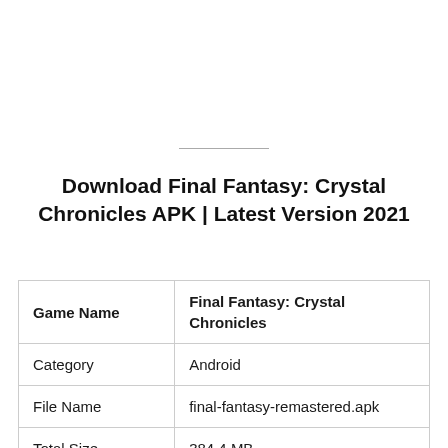Download Final Fantasy: Crystal Chronicles APK | Latest Version 2021
| Game Name | Final Fantasy: Crystal Chronicles |
| --- | --- |
| Category | Android |
| File Name | final-fantasy-remastered.apk |
| Total Size | 384.4 MB |
| Latest
Version | 1.0 |